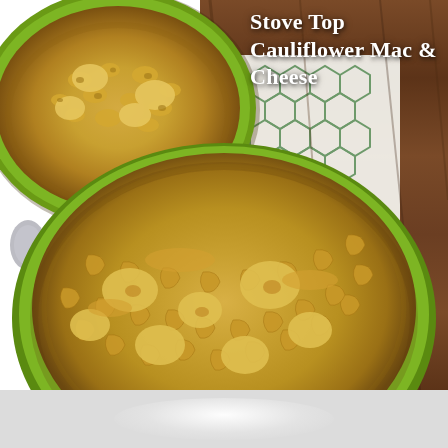[Figure (photo): Overhead view of two green bowls filled with macaroni and cauliflower mac and cheese on a wooden surface with a green and white patterned cloth. A spoon is visible on the left side.]
Stove Top Cauliflower Mac & Cheese